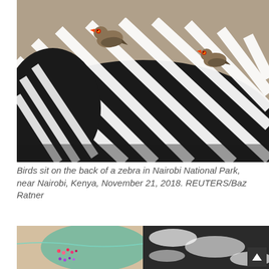[Figure (photo): Close-up photo of a zebra's back with bold black and white stripes. Two small brown birds with red and yellow beaks (oxpeckers) sit on the zebra's back. Blurred brown landscape background.]
Birds sit on the back of a zebra in Nairobi National Park, near Nairobi, Kenya, November 21, 2018. REUTERS/Baz Ratner
[Figure (photo): Aerial drone photograph of a coastline. Left side shows a sandy beach with small colorful figures (people/objects) in pink/orange and purple. Right side shows dark rocky coast with white ocean waves crashing. Turquoise water visible.]